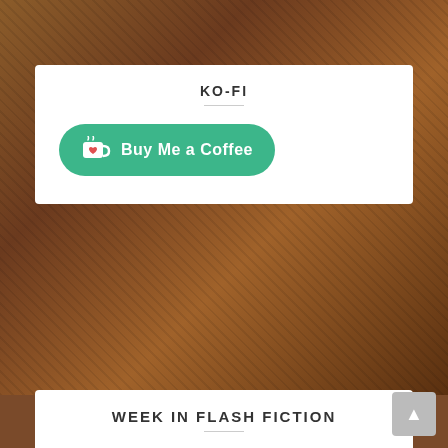[Figure (photo): Brown leather background texture with chains visible at edges]
KO-FI
[Figure (illustration): Green 'Buy Me a Coffee' Ko-fi button with cup icon and heart]
WEEK IN FLASH FICTION
#MenageMonday
#EVERyTuesdayWordplay
#MidWeekFlash
#ThursThreads
#SwiftFicFriday